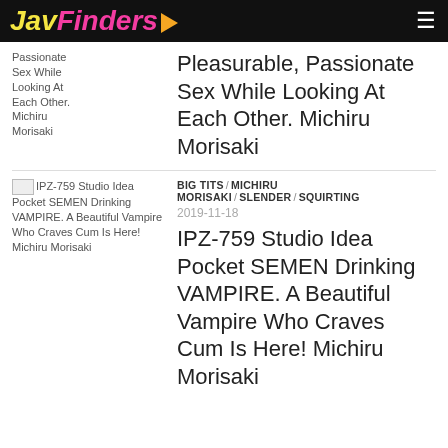JavFinders
Passionate Sex While Looking At Each Other. Michiru Morisaki
Pleasurable, Passionate Sex While Looking At Each Other. Michiru Morisaki
BIG TITS / MICHIRU MORISAKI / SLENDER / SQUIRTING
2019-11-18
IPZ-759 Studio Idea Pocket SEMEN Drinking VAMPIRE. A Beautiful Vampire Who Craves Cum Is Here! Michiru Morisaki
IPZ-759 Studio Idea Pocket SEMEN Drinking VAMPIRE. A Beautiful Vampire Who Craves Cum Is Here! Michiru Morisaki